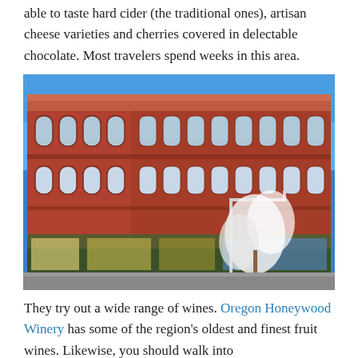able to taste hard cider (the traditional ones), artisan cheese varieties and cherries covered in delectable chocolate. Most travelers spend weeks in this area.
[Figure (photo): A large historic red brick multi-story commercial building on a street corner, with arched windows, storefronts at street level, and bare white-blossomed trees in front under a bright blue sky.]
They try out a wide range of wines. Oregon Honeywood Winery has some of the region's oldest and finest fruit wines. Likewise, you should walk into